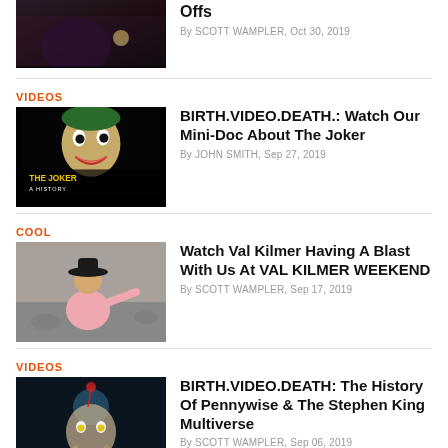[Figure (photo): Partial thumbnail of a movie/entertainment scene at top of page]
Offs
By SCOTT WAMPLER, Oct 30, 2019
VIDEOS
[Figure (photo): The Joker: A History thumbnail image showing Joker face artwork]
BIRTH.VIDEO.DEATH.: Watch Our Mini-Doc About The Joker
By JOHN SMITH, Sep 27, 2019
COOL
[Figure (photo): Val Kilmer on stage photo]
Watch Val Kilmer Having A Blast With Us At VAL KILMER WEEKEND
By SCOTT WAMPLER, Sep 17, 2019
VIDEOS
[Figure (photo): Pennywise from IT horror movie thumbnail]
BIRTH.VIDEO.DEATH: The History Of Pennywise & The Stephen King Multiverse
By SCOTT WAMPLER, Sep 06, 2019